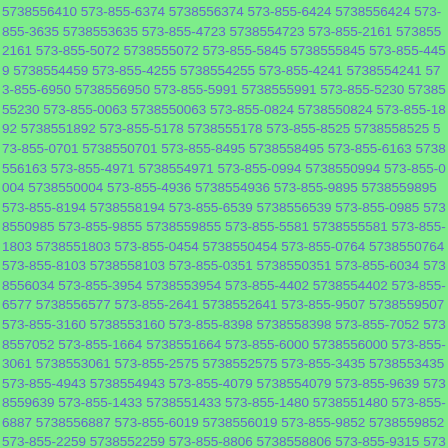5738556410 573-855-6374 5738556374 573-855-6424 5738556424 573-855-3635 5738553635 573-855-4723 5738554723 573-855-2161 5738552161 573-855-5072 5738555072 573-855-5845 5738555845 573-855-4459 5738554459 573-855-4255 5738554255 573-855-4241 5738554241 573-855-6950 5738556950 573-855-5991 5738555991 573-855-5230 5738555230 573-855-0063 5738550063 573-855-0824 5738550824 573-855-1892 5738551892 573-855-5178 5738555178 573-855-8525 5738558525 573-855-0701 5738550701 573-855-8495 5738558495 573-855-6163 5738556163 573-855-4971 5738554971 573-855-0994 5738550994 573-855-0004 5738550004 573-855-4936 5738554936 573-855-9895 5738559895 573-855-8194 5738558194 573-855-6539 5738556539 573-855-0985 5738550985 573-855-9855 5738559855 573-855-5581 5738555581 573-855-1803 5738551803 573-855-0454 5738550454 573-855-0764 5738550764 573-855-8103 5738558103 573-855-0351 5738550351 573-855-6034 5738556034 573-855-3954 5738553954 573-855-4402 5738554402 573-855-6577 5738556577 573-855-2641 5738552641 573-855-9507 5738559507 573-855-3160 5738553160 573-855-8398 5738558398 573-855-7052 5738557052 573-855-1664 5738551664 573-855-6000 5738556000 573-855-3061 5738553061 573-855-2575 5738552575 573-855-3435 5738553435 573-855-4943 5738554943 573-855-4079 5738554079 573-855-9639 5738559639 573-855-1433 5738551433 573-855-1480 5738551480 573-855-6887 5738556887 573-855-6019 5738556019 573-855-9852 5738559852 573-855-2259 5738552259 573-855-8806 5738558806 573-855-9315 5738559315 573-855-0499 5738550499 573-855-3543 5738553543 573-855-3319 5738553319 573-855...